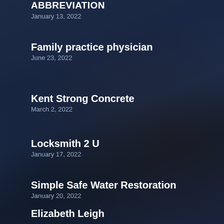ABBREVIATION
January 13, 2022
Family practice physician
June 23, 2022
Kent Strong Concrete
March 2, 2022
Locksmith 2 U
January 17, 2022
Simple Safe Water Restoration
January 20, 2022
Elizabeth Leigh